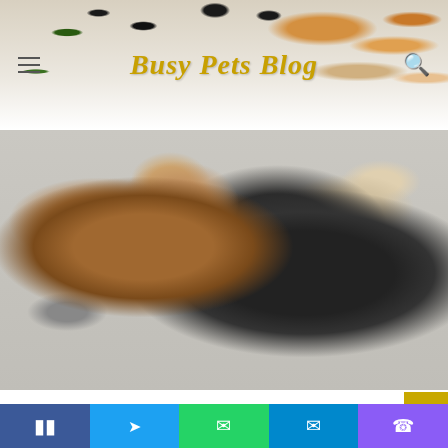Busy Pets Blog
[Figure (photo): A golden retriever dog being hugged by a woman in black scrubs sitting on a floor, the dog appears to be licking or nuzzling the woman's face. Veterinary or clinic setting.]
Ellie needed an FHO (a form of hip repair), external fixators in her femur for 8 weeks, along with a hospital stay to bring her out of shock. Her treatment was
[Figure (other): Social media share bar with Facebook, Twitter, WhatsApp, Telegram, and Phone icons]